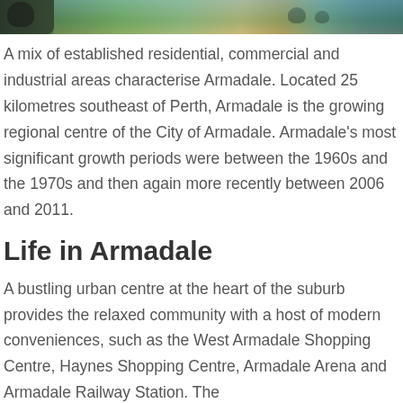[Figure (photo): Partial view of a nature/park scene with birds near water, green grass and sandy ground visible at the top of the page.]
A mix of established residential, commercial and industrial areas characterise Armadale. Located 25 kilometres southeast of Perth, Armadale is the growing regional centre of the City of Armadale. Armadale's most significant growth periods were between the 1960s and the 1970s and then again more recently between 2006 and 2011.
Life in Armadale
A bustling urban centre at the heart of the suburb provides the relaxed community with a host of modern conveniences, such as the West Armadale Shopping Centre, Haynes Shopping Centre, Armadale Arena and Armadale Railway Station. The